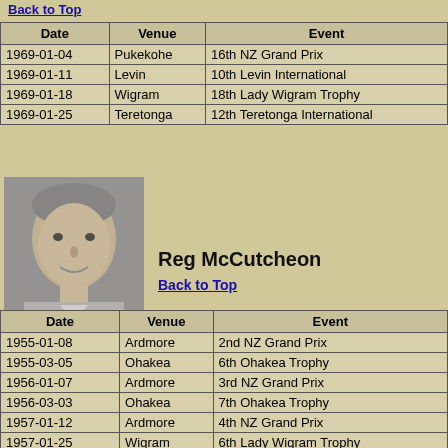Back to Top
| Date | Venue | Event |
| --- | --- | --- |
| 1969-01-04 | Pukekohe | 16th NZ Grand Prix |
| 1969-01-11 | Levin | 10th Levin International |
| 1969-01-18 | Wigram | 18th Lady Wigram Trophy |
| 1969-01-25 | Teretonga | 12th Teretonga International |
[Figure (photo): Black and white portrait photo of Reg McCutcheon, a middle-aged man smiling]
Reg McCutcheon
Back to Top
| Date | Venue | Event |
| --- | --- | --- |
| 1955-01-08 | Ardmore | 2nd NZ Grand Prix |
| 1955-03-05 | Ohakea | 6th Ohakea Trophy |
| 1956-01-07 | Ardmore | 3rd NZ Grand Prix |
| 1956-03-03 | Ohakea | 7th Ohakea Trophy |
| 1957-01-12 | Ardmore | 4th NZ Grand Prix |
| 1957-01-25 | Wigram | 6th Lady Wigram Trophy |